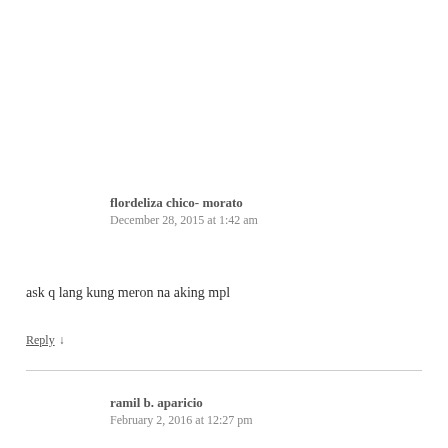flordeliza chico- morato
December 28, 2015 at 1:42 am
ask q lang kung meron na aking mpl
Reply ↓
ramil b. aparicio
February 2, 2016 at 12:27 pm